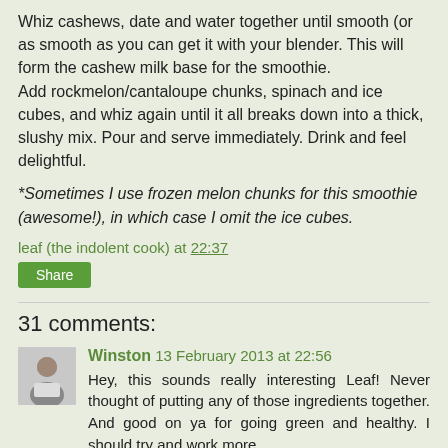Whiz cashews, date and water together until smooth (or as smooth as you can get it with your blender. This will form the cashew milk base for the smoothie.
Add rockmelon/cantaloupe chunks, spinach and ice cubes, and whiz again until it all breaks down into a thick, slushy mix. Pour and serve immediately. Drink and feel delightful.
*Sometimes I use frozen melon chunks for this smoothie (awesome!), in which case I omit the ice cubes.
leaf (the indolent cook) at 22:37
Share
31 comments:
Winston 13 February 2013 at 22:56
Hey, this sounds really interesting Leaf! Never thought of putting any of those ingredients together. And good on ya for going green and healthy. I should try and work more